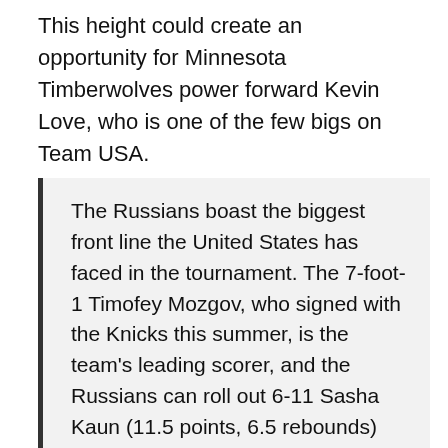This height could create an opportunity for Minnesota Timberwolves power forward Kevin Love, who is one of the few bigs on Team USA.
The Russians boast the biggest front line the United States has faced in the tournament. The 7-foot-1 Timofey Mozgov, who signed with the Knicks this summer, is the team's leading scorer, and the Russians can roll out 6-11 Sasha Kaun (11.5 points, 6.5 rebounds) and 6-11 Alexey Zhukanenko. Toss in 6-9 power forward Andrey Vorontsevich, who ranks among the top 15 players in rebounding (6.8), and Russia is one of the most physical teams in the competition. Team USA has been surprisingly effective on the glass — it ranks first in rebounds per game (41.8), and Kevin Love, Kevin Durant and Lamar Odom all slot in the top 30 individually — but the Americans will have their hands full with Russia's